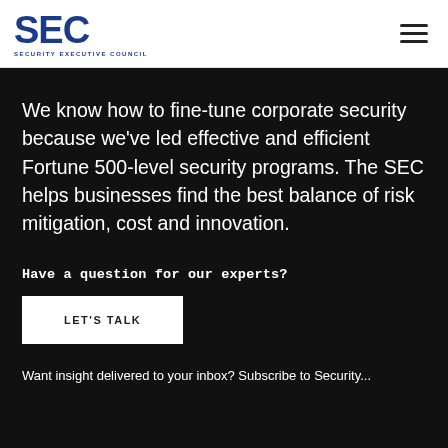[Figure (logo): Security Executive Council (SEC) logo with large blue letters and subtitle 'SECURITY EXECUTIVE COUNCIL']
We know how to fine-tune corporate security because we've led effective and efficient Fortune 500-level security programs. The SEC helps businesses find the best balance of risk mitigation, cost and innovation.
Have a question for our experts?
LET'S TALK
Want insight delivered to your inbox? Subscribe to Security...